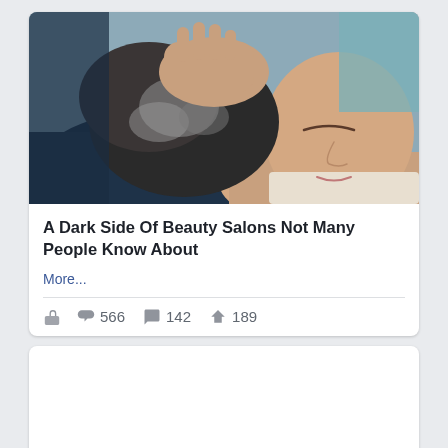[Figure (photo): Woman having her hair washed at a salon, leaning back at a wash basin, eyes closed, with hands massaging gray/dark curly hair]
A Dark Side Of Beauty Salons Not Many People Know About
More...
566  142  189